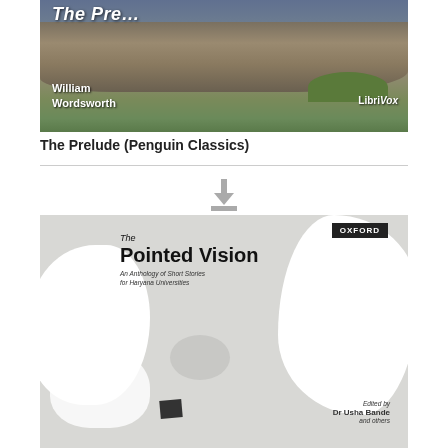[Figure (photo): Book cover of 'The Prelude' by William Wordsworth, published by LibriVox. Shows a rocky landscape with hills and sky in the background. White italic title text at top, author name at bottom left, LibriVox branding at bottom right.]
The Prelude (Penguin Classics)
[Figure (illustration): Download icon — gray downward arrow above a gray tray/platform symbol]
[Figure (photo): Book cover of 'The Pointed Vision: An Anthology of Short Stories for Haryana Universities', published by Oxford. Cover features abstract white curving shapes on gray background with an oval cutout. Edited by Dr Usha Bande and others. Oxford badge in top right corner.]